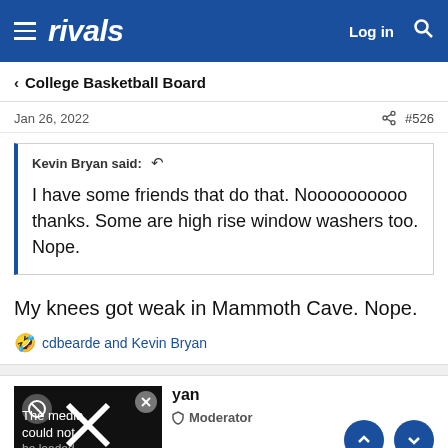rivals — Log in
< College Basketball Board
Jan 26, 2022   #526
Kevin Bryan said: ↩

I have some friends that do that. Noooooooooo thanks. Some are high rise window washers too. Nope.
My knees got weak in Mammoth Cave. Nope.
🤣 cdbearde and Kevin Bryan
yan  •  Moderator
The media could not be loaded.